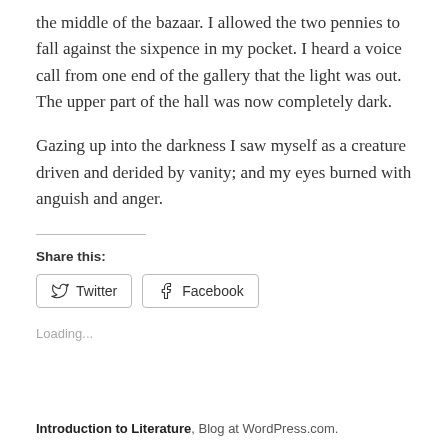the middle of the bazaar. I allowed the two pennies to fall against the sixpence in my pocket. I heard a voice call from one end of the gallery that the light was out. The upper part of the hall was now completely dark.
Gazing up into the darkness I saw myself as a creature driven and derided by vanity; and my eyes burned with anguish and anger.
Share this:
Twitter
Facebook
Loading...
Introduction to Literature, Blog at WordPress.com.